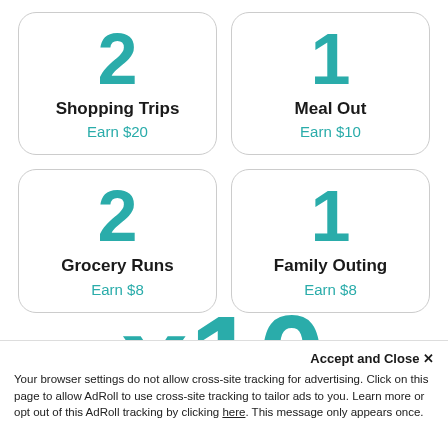[Figure (infographic): Four reward cards in a 2x2 grid. Top-left: number 2, Shopping Trips, Earn $20. Top-right: number 1, Meal Out, Earn $10. Bottom-left: number 2, Grocery Runs, Earn $8. Bottom-right: number 1, Family Outing, Earn $8.]
[Figure (other): Partially visible large teal number 'x10' cropped at bottom of main content area]
Accept and Close ×
Your browser settings do not allow cross-site tracking for advertising. Click on this page to allow AdRoll to use cross-site tracking to tailor ads to you. Learn more or opt out of this AdRoll tracking by clicking here. This message only appears once.